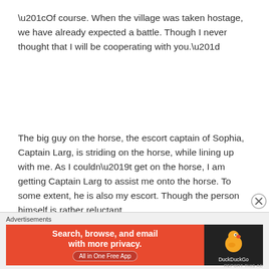“Of course. When the village was taken hostage, we have already expected a battle. Though I never thought that I will be cooperating with you.”
The big guy on the horse, the escort captain of Sophia, Captain Larg, is striding on the horse, while lining up with me. As I couldn’t get on the horse, I am getting Captain Larg to assist me onto the horse. To some extent, he is also my escort. Though the person himself is rather reluctant.
Advertisements
[Figure (other): DuckDuckGo advertisement banner with orange left side reading 'Search, browse, and email with more privacy. All in One Free App' and dark right side with DuckDuckGo duck logo]